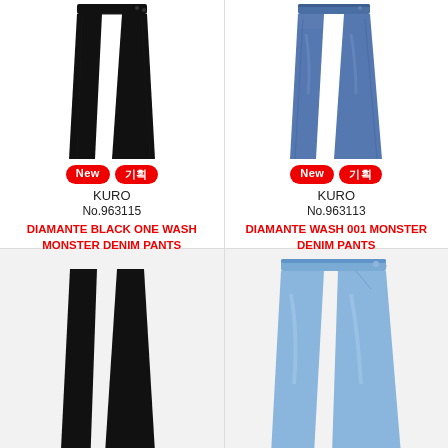[Figure (photo): Black slim denim pants product photo on white background]
New  기획
KURO
No.963115
DIAMANTE BLACK ONE WASH MONSTER DENIM PANTS
¥23,100
[Figure (photo): Blue wash slim denim pants product photo on white background]
New  기획
KURO
No.963113
DIAMANTE WASH 001 MONSTER DENIM PANTS
¥27,500
[Figure (photo): Black slim denim pants partially visible at bottom]
[Figure (photo): Light blue slim denim pants partially visible at bottom]